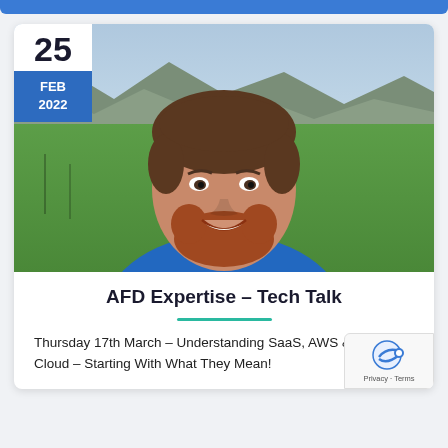[Figure (photo): Headshot of a smiling man with a red beard, wearing a blue polo shirt, with a green field and mountains in the background. Date badge overlay showing '25 FEB 2022' in the top-left corner.]
AFD Expertise – Tech Talk
Thursday 17th March – Understanding SaaS, AWS & The Cloud – Starting With What They Mean!